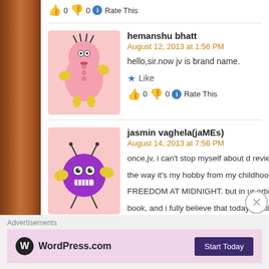👍 0 👎 0 ℹ Rate This
hemanshu bhatt
August 12, 2013 at 1:56 PM
hello,sir.now jv is brand name.
★ Like
👍 0 👎 0 ℹ Rate This
jasmin vaghela(jaMEs)
August 14, 2013 at 7:56 PM
once,jv, i can't stop myself about d review of today's artile the way it's my hobby from my childhood to read books, an FREEDOM AT MIDNIGHT. but in ur article, there were ver book, and i fully believe that today hardly indians understa haven't got freedom expressing our thoughts freely. fully a
Advertisements
[Figure (logo): WordPress.com logo with Start Today button on pink ad background]